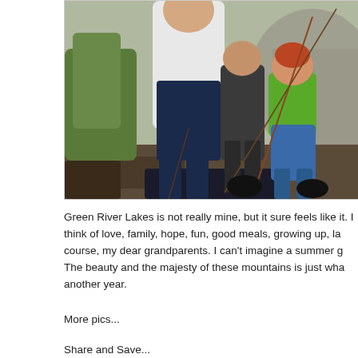[Figure (photo): Outdoor photo of an adult man in a white shirt and dark shorts helping two children fish near large rocks and green vegetation. A red-haired child in a green vest and blue shorts holds a fishing rod on the right. Another child in dark clothing is in the middle.]
Green River Lakes is not really mine, but it sure feels like it. I think of love, family, hope, fun, good meals, growing up, laughter, and of course, my dear grandparents. I can't imagine a summer going by without it. The beauty and the majesty of these mountains is just what the soul needs another year.
More pics...
Share and Save...